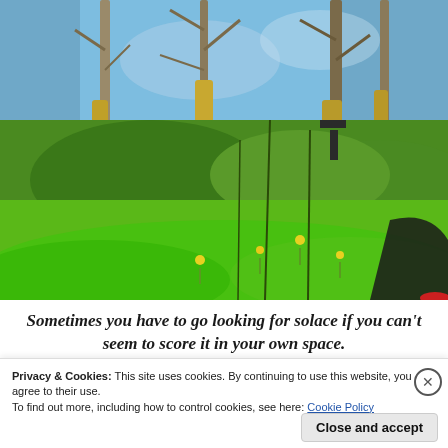[Figure (photo): Outdoor nature photo taken from low angle showing lush green grass, wildflowers, and tall bare trees with yellow trunks against a blue sky. A dark figure visible in the lower right corner.]
Sometimes you have to go looking for solace if you can't seem to score it in your own space.
Privacy & Cookies: This site uses cookies. By continuing to use this website, you agree to their use.
To find out more, including how to control cookies, see here: Cookie Policy
Close and accept